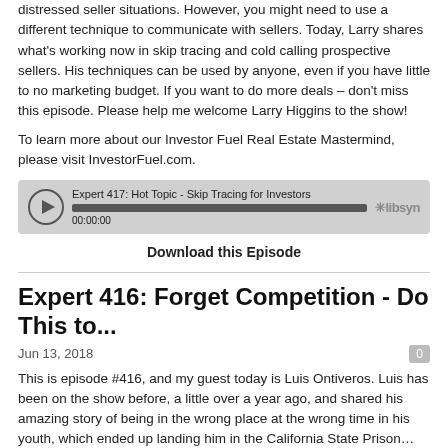distressed seller situations. However, you might need to use a different technique to communicate with sellers. Today, Larry shares what's working now in skip tracing and cold calling prospective sellers. His techniques can be used by anyone, even if you have little to no marketing budget. If you want to do more deals – don't miss this episode. Please help me welcome Larry Higgins to the show!
To learn more about our Investor Fuel Real Estate Mastermind, please visit InvestorFuel.com.
[Figure (other): Audio player widget showing 'Expert 417: Hot Topic - Skip Tracing for Investors', progress bar at 00:00:00, with libsyn branding]
Download this Episode
Expert 416: Forget Competition - Do This to...
Jun 13, 2018
This is episode #416, and my guest today is Luis Ontiveros. Luis has been on the show before, a little over a year ago, and shared his amazing story of being in the wrong place at the wrong time in his youth, which ended up landing him in the California State Prison…then getting out a new man ready to change his ways and not take life for granted again. He went on to truly become a very successful real estate investor, operating in several